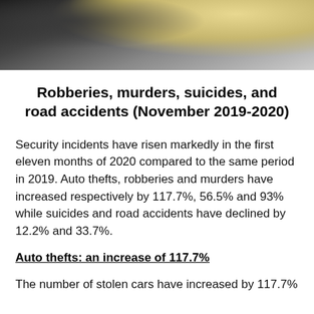[Figure (photo): Hands holding a fan of paper money/banknotes, dark background]
Robberies, murders, suicides, and road accidents (November 2019-2020)
Security incidents have risen markedly in the first eleven months of 2020 compared to the same period in 2019. Auto thefts, robberies and murders have increased respectively by 117.7%, 56.5% and 93% while suicides and road accidents have declined by 12.2% and 33.7%.
Auto thefts: an increase of 117.7%
The number of stolen cars have increased by 117.7%